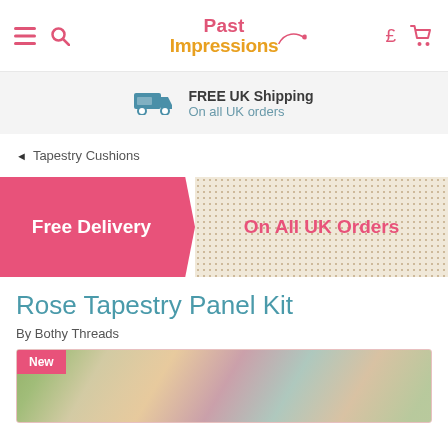Past Impressions
FREE UK Shipping On all UK orders
◄ Tapestry Cushions
[Figure (infographic): Free Delivery On All UK Orders banner — pink left section with white text 'Free Delivery', cream dotted right section with pink text 'On All UK Orders']
Rose Tapestry Panel Kit
By Bothy Threads
[Figure (photo): Rose tapestry cushion with green trim, floral needlepoint pattern, with a 'New' badge in the top left corner]